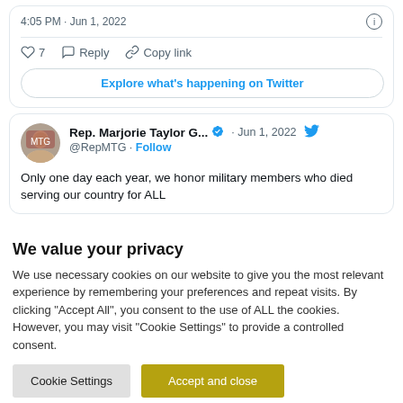4:05 PM · Jun 1, 2022
♡ 7   Reply   Copy link
Explore what's happening on Twitter
Rep. Marjorie Taylor G... · Jun 1, 2022
@RepMTG · Follow
Only one day each year, we honor military members who died serving our country for ALL
We value your privacy
We use necessary cookies on our website to give you the most relevant experience by remembering your preferences and repeat visits. By clicking "Accept All", you consent to the use of ALL the cookies. However, you may visit "Cookie Settings" to provide a controlled consent.
Cookie Settings   Accept and close